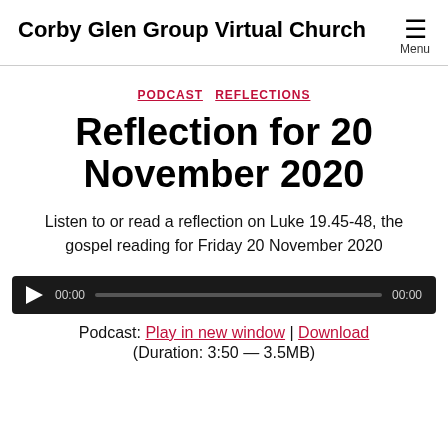Corby Glen Group Virtual Church
PODCAST  REFLECTIONS
Reflection for 20 November 2020
Listen to or read a reflection on Luke 19.45-48, the gospel reading for Friday 20 November 2020
[Figure (other): Audio player widget with play button, time 00:00, progress bar, and end time 00:00]
Podcast: Play in new window | Download
(Duration: 3:50 — 3.5MB)